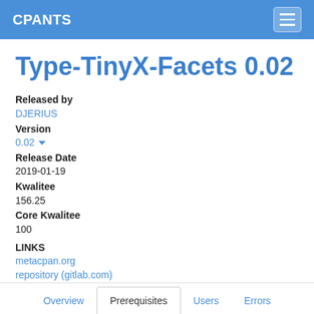CPANTS
Type-TinyX-Facets 0.02
Released by
DJERIUS
Version
0.02
Release Date
2019-01-19
Kwalitee
156.25
Core Kwalitee
100
LINKS
metacpan.org
repository (gitlab.com)
bugtracker (rt.cpan.org)
Overview | Prerequisites | Users | Errors